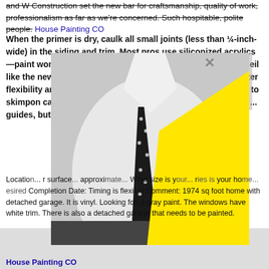and W Construction set the new bar for craftsmanship, quality of work, professionalism as far as we're concerned. Such hospitable, polite people. House Painting CO
When the primer is dry, caulk all small joints (less than ¼-inch-wide) in the siding and trim. Most pros use siliconized acrylics—paint won't stick to straight silicones—but Guertin and O'Neil like the new, more expensive urethane acrylics for their greater flexibility and longevity. O'Neil stresses that it's shortsighted to skimp on caulk: "If the joint fails, you're back to square one." ... guides, but it sho...
[Figure (photo): Black and white photo of a man in a white shirt with a black polka dot tie and pocket square, overlaid with a large yellow triangle shape in the lower right portion]
Painted... Location... surface... approx... What size is... ries is your ho... esired Completion Date: Timing is flexible Comment: 1974 sq foot home with detached garage. It is vinyl. Looking foe a gray paint. The windows have white trim. There is also a detached garage that needs to be painted.
House Painting CO